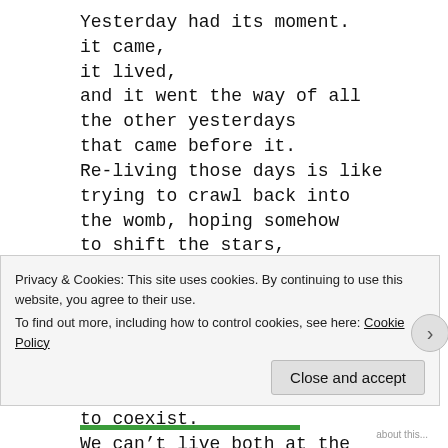Yesterday had its moment.
it came,
it lived,
and it went the way of all
the other yesterdays
that came before it.
Re-living those days is like
trying to crawl back into
the womb, hoping somehow
to shift the stars,
to reshape destiny or
realign fate.
Yesterday moved aside in order
to make room for today,
knowing that there wasn't
enough room for them both
to coexist.
We can't live both at the
Privacy & Cookies: This site uses cookies. By continuing to use this website, you agree to their use.
To find out more, including how to control cookies, see here: Cookie Policy